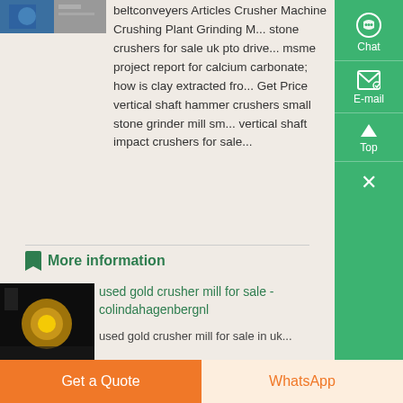[Figure (photo): Person in blue working at industrial equipment]
beltconveyers Articles Crusher Machine Crushing Plant Grinding M... stone crushers for sale uk pto drive... msme project report for calcium carbonate; how is clay extracted fro... Get Price vertical shaft hammer crushers small stone grinder mill sm... vertical shaft impact crushers for sale...
More information
[Figure (photo): Gold crusher mill machinery close-up on dark background]
used gold crusher mill for sale - colindahagenbergnl
used gold crusher mill for sale in uk...
Get a Quote
WhatsApp